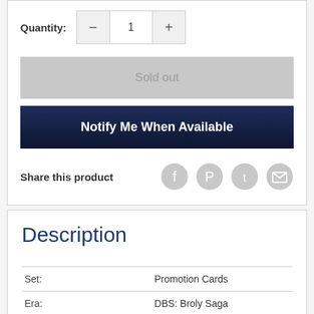Quantity: 1
Sold out
Notify Me When Available
Share this product
Description
|  |  |
| --- | --- |
| Set: | Promotion Cards |
| Era: | DBS: Broly Saga |
| Rarity: | Promo |